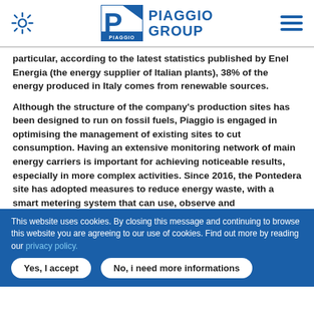[Figure (logo): Piaggio Group logo with gear icon on left and hamburger menu on right]
particular, according to the latest statistics published by Enel Energia (the energy supplier of Italian plants), 38% of the energy produced in Italy comes from renewable sources.
Although the structure of the company's production sites has been designed to run on fossil fuels, Piaggio is engaged in optimising the management of existing sites to cut consumption. Having an extensive monitoring network of main energy carriers is important for achieving noticeable results, especially in more complex activities. Since 2016, the Pontedera site has adopted measures to reduce energy waste, with a smart metering system that can use, observe and
This website uses cookies. By closing this message and continuing to browse this website you are agreeing to our use of cookies. Find out more by reading our privacy policy.
Yes, I accept
No, i need more informations